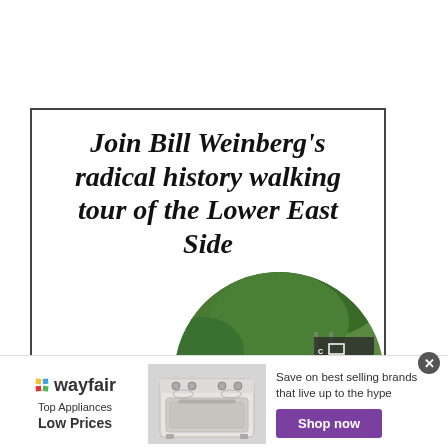[Figure (illustration): Advertisement for Bill Weinberg's radical history walking tour of the Lower East Side. Contains bold italic serif headline text and a circular photo of a man in a cap speaking to a group of people outdoors near a chain-link fence with greenery.]
Join Bill Weinberg's radical history walking tour of the Lower East Side
[Figure (illustration): Wayfair advertisement banner showing a stove/range appliance image, Wayfair logo with colorful diamond, text 'Top Appliances Low Prices', tagline 'Save on best selling brands that live up to the hype', and a purple 'Shop now' button.]